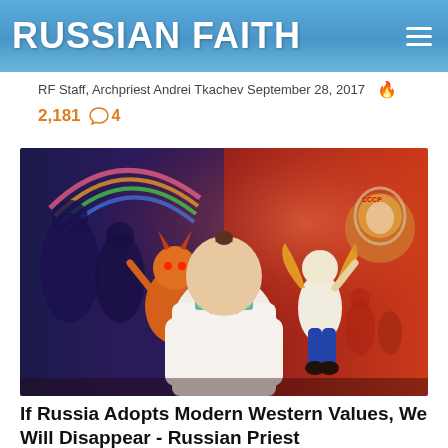RUSSIAN FAITH
RF Staff, Archpriest Andrei Tkachev September 28, 2017
2,181   4
[Figure (illustration): Painting showing a bald man in a white embroidered shirt viewed from behind, facing a dramatic scene split between a dark chaotic Western-influenced left side and a vibrant red Russian-themed right side with an angel figure and cosmonaut.]
If Russia Adopts Modern Western Values, We Will Disappear - Russian Priest